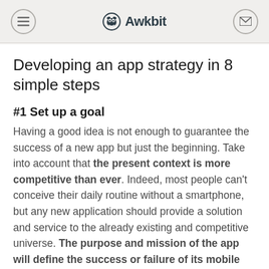Awkbit
Developing an app strategy in 8 simple steps
#1 Set up a goal
Having a good idea is not enough to guarantee the success of a new app but just the beginning. Take into account that the present context is more competitive than ever. Indeed, most people can't conceive their daily routine without a smartphone, but any new application should provide a solution and service to the already existing and competitive universe. The purpose and mission of the app will define the success or failure of its mobile strategy.